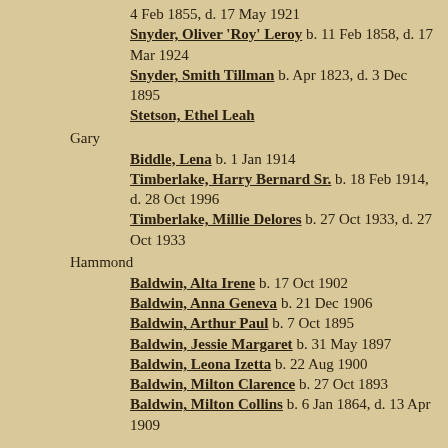4 Feb 1855, d. 17 May 1921
Snyder, Oliver 'Roy' Leroy  b. 11 Feb 1858, d. 17 Mar 1924
Snyder, Smith Tillman  b. Apr 1823, d. 3 Dec 1895
Stetson, Ethel Leah
Gary
Biddle, Lena  b. 1 Jan 1914
Timberlake, Harry Bernard Sr.  b. 18 Feb 1914, d. 28 Oct 1996
Timberlake, Millie Delores  b. 27 Oct 1933, d. 27 Oct 1933
Hammond
Baldwin, Alta Irene  b. 17 Oct 1902
Baldwin, Anna Geneva  b. 21 Dec 1906
Baldwin, Arthur Paul  b. 7 Oct 1895
Baldwin, Jessie Margaret  b. 31 May 1897
Baldwin, Leona Izetta  b. 22 Aug 1900
Baldwin, Milton Clarence  b. 27 Oct 1893
Baldwin, Milton Collins  b. 6 Jan 1864, d. 13 Apr 1909